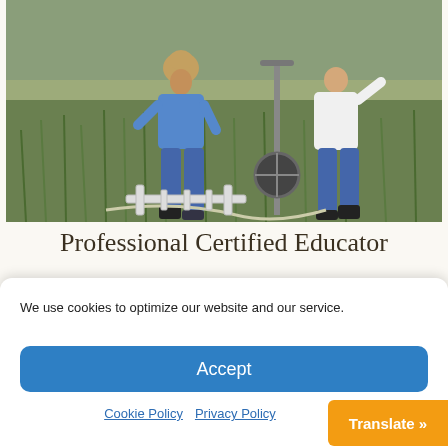[Figure (photo): Two people standing in a grassy wetland/marsh field, one wearing a blue shirt with a hat and jeans, the other in a white shirt and jeans. Field equipment (pole and reel device) is visible between them.]
Professional Certified Educator
We use cookies to optimize our website and our service.
Accept
Cookie Policy   Privacy Policy
Translate »